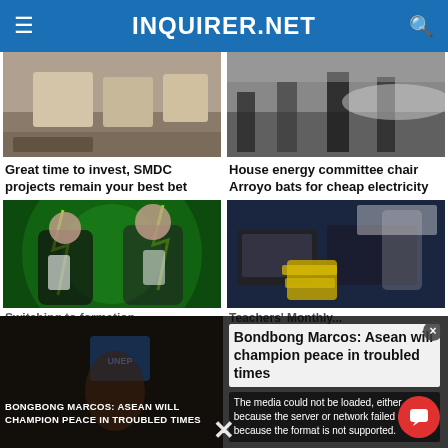INQUIRER.NET
[Figure (photo): Interior lobby with beige chairs and reflective floor]
[Figure (photo): Construction workers in orange vests on a road]
Great time to invest, SMDC projects remain your best bet
House energy committee chair Arroyo bats for cheap electricity
[Figure (photo): Two women in black outfits holding phones with green lightning effects]
[Figure (photo): Person holding cash in front of monitors, educational poster in background]
Switching to formation...
Teachers' Monthly...
[Figure (screenshot): Video overlay with Bongbong Marcos article and media error message]
Bondbong Marcos: Asean will champion peace in troubled times
The media could not be loaded, either because the server or network failed or because the format is not supported.
BONGBONG MARCOS: ASEAN WILL CHAMPION PEACE IN TROUBLED TIMES